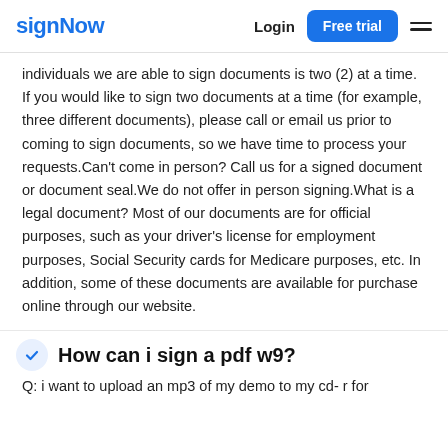signNow  Login  Free trial
individuals we are able to sign documents is two (2) at a time. If you would like to sign two documents at a time (for example, three different documents), please call or email us prior to coming to sign documents, so we have time to process your requests.Can't come in person? Call us for a signed document or document seal.We do not offer in person signing.What is a legal document? Most of our documents are for official purposes, such as your driver's license for employment purposes, Social Security cards for Medicare purposes, etc. In addition, some of these documents are available for purchase online through our website.
How can i sign a pdf w9?
Q: i want to upload an mp3 of my demo to my cd- r for